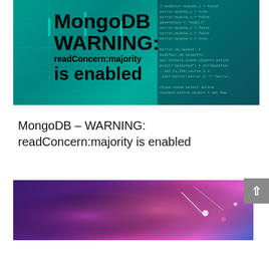[Figure (screenshot): MongoDB WARNING: readConcern:majority is enabled banner with teal/green background and dark code overlay on the right]
MongoDB – WARNING: readConcern:majority is enabled
[Figure (photo): Dark purple/pink abstract background with light streaks and dots]
Virtual-DBA uses cookies to personalize content and ads.